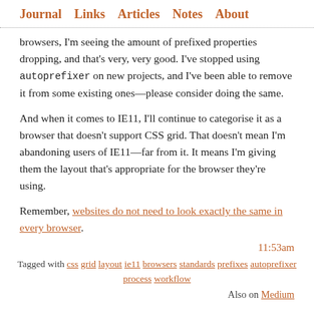Journal   Links   Articles   Notes   About
browsers, I'm seeing the amount of prefixed properties dropping, and that's very, very good. I've stopped using autoprefixer on new projects, and I've been able to remove it from some existing ones—please consider doing the same.
And when it comes to IE11, I'll continue to categorise it as a browser that doesn't support CSS grid. That doesn't mean I'm abandoning users of IE11—far from it. It means I'm giving them the layout that's appropriate for the browser they're using.
Remember, websites do not need to look exactly the same in every browser.
11:53am
Tagged with css grid layout ie11 browsers standards prefixes autoprefixer process workflow
Also on Medium